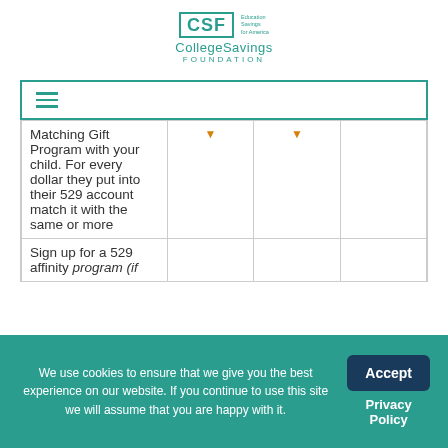[Figure (logo): CollegeSavings Foundation logo with teal CSF box and tagline text]
[Figure (other): Navigation hamburger menu bar with teal border]
| Matching Gift Program with your child. For every dollar they put into their 529 account match it with the same or more |  |  |  |
| Sign up for a 529 affinity program (if... |  |  |  |
We use cookies to ensure that we give you the best experience on our website. If you continue to use this site we will assume that you are happy with it.